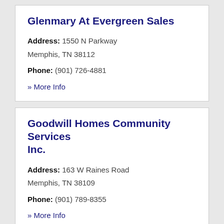Glenmary At Evergreen Sales
Address: 1550 N Parkway
Memphis, TN 38112
Phone: (901) 726-4881
» More Info
Goodwill Homes Community Services Inc.
Address: 163 W Raines Road
Memphis, TN 38109
Phone: (901) 789-8355
» More Info